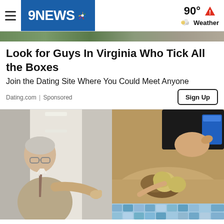9NEWS | 90° Weather
Look for Guys In Virginia Who Tick All the Boxes
Join the Dating Site Where You Could Meet Anyone
Dating.com | Sponsored
[Figure (photo): Composite photo: elderly man in suit pointing left, and hands holding something over a sandy surface with bread/food items]
Sign Up